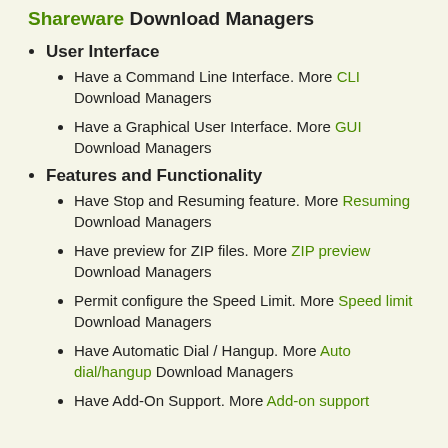Shareware Download Managers
User Interface
Have a Command Line Interface. More CLI Download Managers
Have a Graphical User Interface. More GUI Download Managers
Features and Functionality
Have Stop and Resuming feature. More Resuming Download Managers
Have preview for ZIP files. More ZIP preview Download Managers
Permit configure the Speed Limit. More Speed limit Download Managers
Have Automatic Dial / Hangup. More Auto dial/hangup Download Managers
Have Add-On Support. More Add-on support